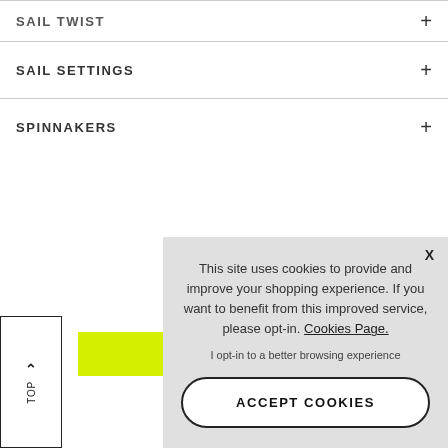SAIL TWIST
SAIL SETTINGS
SPINNAKERS
This site uses cookies to provide and improve your shopping experience. If you want to benefit from this improved service, please opt-in. Cookies Page.
I opt-in to a better browsing experience
ACCEPT COOKIES